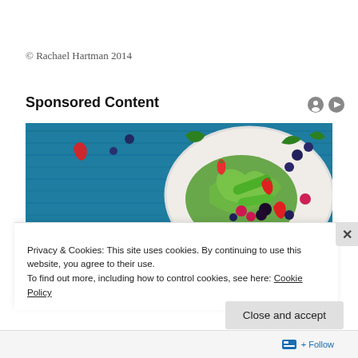© Rachael Hartman 2014
Sponsored Content
[Figure (photo): A white plate filled with colorful fresh salad — strawberries, raspberries, blueberries, blackberries, green leaves, and herbs — set on a blue painted wooden surface with additional berries and leaves scattered around.]
Privacy & Cookies: This site uses cookies. By continuing to use this website, you agree to their use.
To find out more, including how to control cookies, see here: Cookie Policy
Close and accept